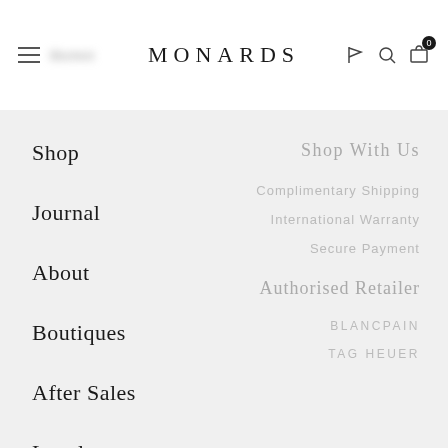MONARDS
Shop
Journal
About
Boutiques
After Sales
Legals
Shop With Us
Complimentary Shipping
International Warranty
Secure Payment
Authorised Retailer
BLANCPAIN
TAG HEUER